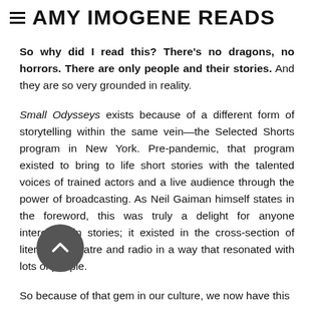AMY IMOGENE READS
So why did I read this? There's no dragons, no horrors. There are only people and their stories. And they are so very grounded in reality.
Small Odysseys exists because of a different form of storytelling within the same vein—the Selected Shorts program in New York. Pre-pandemic, that program existed to bring to life short stories with the talented voices of trained actors and a live audience through the power of broadcasting. As Neil Gaiman himself states in the foreword, this was truly a delight for anyone interested in stories; it existed in the cross-section of literature, theatre and radio in a way that resonated with lots of people.
So because of that gem in our culture, we now have this